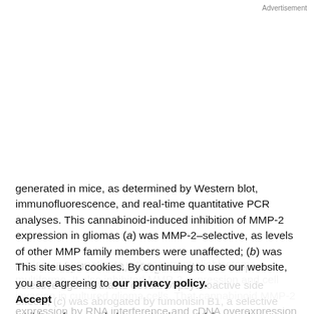Advertisement
generated in mice, as determined by Western blot, immunofluorescence, and real-time quantitative PCR analyses. This cannabinoid-induced inhibition of MMP-2 expression in gliomas (a) was MMP-2–selective, as levels of other MMP family members were unaffected; (b) was mimicked by JWH-133, a CB2 cannabinoid receptor–selective agonist that is devoid of psychoactive side effects; (c) was abrogated by fumonisin B1, a selective inhibitor of ceramide biosynthesis; and (d) was also
evident in two patients with recurrent glioblastoma multiforme. It also inhibited MMP-2 expression and cell invasion in cultured glioma cells. That cannabinoid MMP-2 expression by RNA interference and cDNA overexpression experiments revealed that downregulation of MMP-...
This site uses cookies. By continuing to use our website, you are agreeing to our privacy policy. Accept